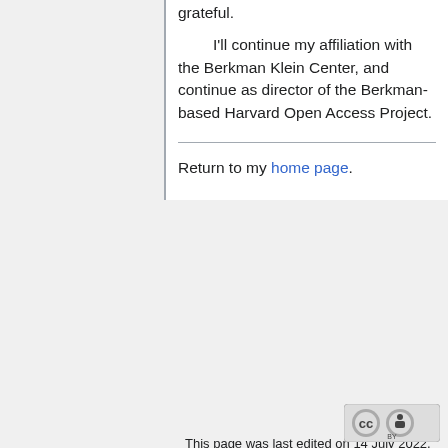grateful.
I'll continue my affiliation with the Berkman Klein Center, and continue as director of the Berkman-based Harvard Open Access Project.
Return to my home page.
This page was last edited on 14 July 2022, at 13:29.
This page has been accessed 5,492 times.
Unless otherwise specified, the contents of this wiki stand under a Creative Commons Attribution 3.0 Unported (CC-BY 3.0) license.
Privacy policy   About Peter Suber
Disclaimers